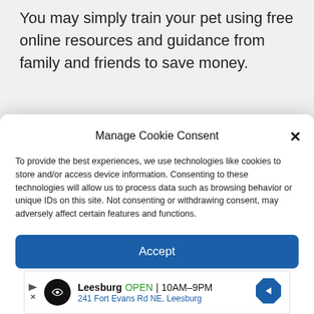You may simply train your pet using free online resources and guidance from family and friends to save money.
Manage Cookie Consent
To provide the best experiences, we use technologies like cookies to store and/or access device information. Consenting to these technologies will allow us to process data such as browsing behavior or unique IDs on this site. Not consenting or withdrawing consent, may adversely affect certain features and functions.
[Figure (screenshot): Accept button - blue rounded rectangle with white text 'Accept']
[Figure (infographic): Advertisement banner: Leesburg store, OPEN 10AM-9PM, 241 Fort Evans Rd NE Leesburg, with circular black logo and blue navigation diamond icon]